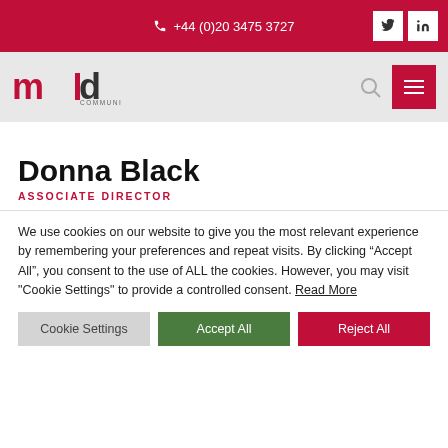+44 (0)20 3475 3727
[Figure (logo): MDI Communications logo with red text and vertical bar accent, followed by 'COMMUNICATIONS' in small caps]
Donna Black
ASSOCIATE DIRECTOR
We use cookies on our website to give you the most relevant experience by remembering your preferences and repeat visits. By clicking “Accept All”, you consent to the use of ALL the cookies. However, you may visit "Cookie Settings" to provide a controlled consent. Read More
Cookie Settings | Accept All | Reject All